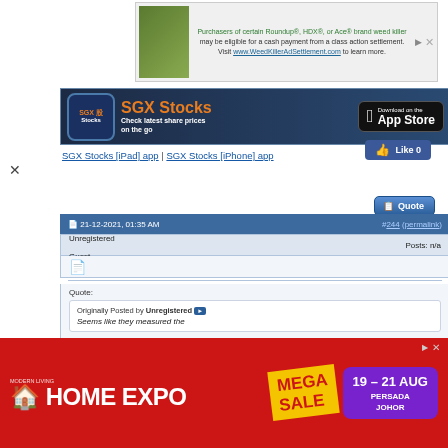[Figure (screenshot): Top advertisement banner for Roundup/HDX/Ace brand weed killer class action settlement with image of plants and text about cash payment eligibility]
[Figure (screenshot): SGX Stocks app advertisement banner showing app logo, title 'SGX Stocks - Check latest share prices on the go', and Apple App Store download button]
SGX Stocks [iPad] app | SGX Stocks [iPhone] app
[Figure (screenshot): Facebook Like button showing 0 likes]
[Figure (screenshot): Quote button]
21-12-2021, 01:35 AM  #244 (permalink)
Unregistered Guest  Posts: n/a
[Figure (screenshot): Post icon/avatar for unregistered guest]
Quote:
Originally Posted by Unregistered ▶ Seems like they measured the
[Figure (screenshot): Bottom red advertisement banner for Modern Living Home Expo with Mega Sale, 19-21 Aug, Persada Johor]